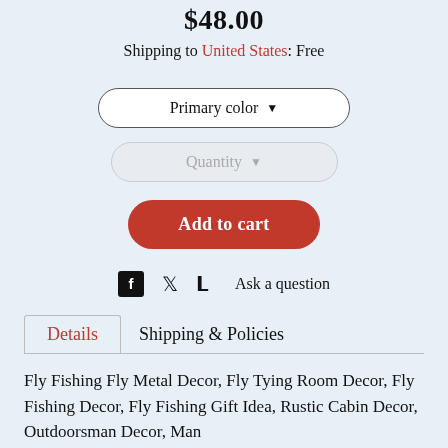$48.00
Shipping to United States: Free
[Figure (screenshot): Primary color dropdown selector with rounded border]
[Figure (screenshot): Quantity dropdown selector with light rounded border]
[Figure (screenshot): Add to cart button in red/orange with rounded corners]
Ask a question
Details
Shipping & Policies
Fly Fishing Fly Metal Decor, Fly Tying Room Decor, Fly Fishing Decor, Fly Fishing Gift Idea, Rustic Cabin Decor, Outdoorsman Decor, Man